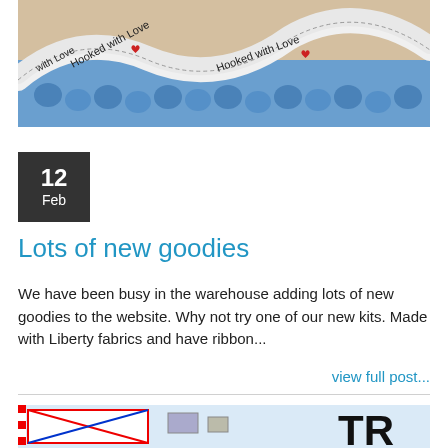[Figure (photo): A ribbon with text 'Hooked with Love' and red heart motifs, laid across blue and beige crochet fabric.]
12 Feb
Lots of new goodies
We have been busy in the warehouse adding lots of new goodies to the website. Why not try one of our new kits. Made with Liberty fabrics and have ribbon...
view full post...
[Figure (photo): Partial view of envelopes and mail items with airmail stripes and the letters 'TR' visible, on a light blue background.]